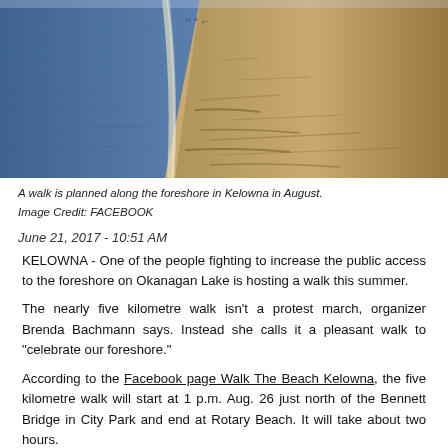[Figure (photo): A beach foreshore photo showing water on the left and sandy beach on the right, taken along Okanagan Lake in Kelowna]
A walk is planned along the foreshore in Kelowna in August.
Image Credit: FACEBOOK
June 21, 2017 - 10:51 AM
KELOWNA - One of the people fighting to increase the public access to the foreshore on Okanagan Lake is hosting a walk this summer.
The nearly five kilometre walk isn't a protest march, organizer Brenda Bachmann says. Instead she calls it a pleasant walk to "celebrate our foreshore."
According to the Facebook page Walk The Beach Kelowna, the five kilometre walk will start at 1 p.m. Aug. 26 just north of the Bennett Bridge in City Park and end at Rotary Beach. It will take about two hours.
"The route will be along the beach foreshore, as much as possible,"